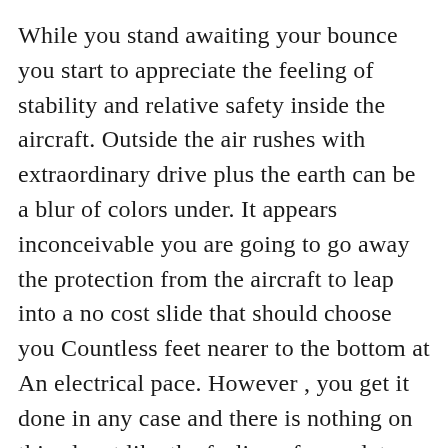While you stand awaiting your bounce you start to appreciate the feeling of stability and relative safety inside the aircraft. Outside the air rushes with extraordinary drive plus the earth can be a blur of colors under. It appears inconceivable you are going to go away the protection from the aircraft to leap into a no cost slide that should choose you Countless feet nearer to the bottom at An electrical pace. However , you get it done in any case and there is nothing on this planet like the feeling of complete independence.